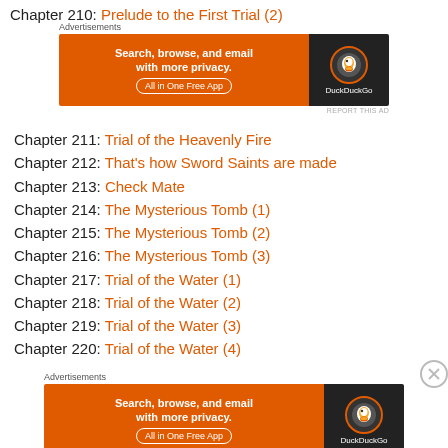Chapter 210: Prelude to the First Trial (2)
[Figure (other): DuckDuckGo advertisement banner: orange section with text 'Search, browse, and email with more privacy. All in One Free App' and dark section with DuckDuckGo logo]
Chapter 211: Trial of the Heavenly Fire
Chapter 212: That’s how Sword Saints are made
Chapter 213: Check Mate
Chapter 214: The Mysterious Tomb (1)
Chapter 215: The Mysterious Tomb (2)
Chapter 216: The Mysterious Tomb (3)
Chapter 217: Trial of the Water (1)
Chapter 218: Trial of the Water (2)
Chapter 219: Trial of the Water (3)
Chapter 220: Trial of the Water (4)
[Figure (other): DuckDuckGo advertisement banner at bottom: orange section with text 'Search, browse, and email with more privacy. All in One Free App' and dark section with DuckDuckGo logo]